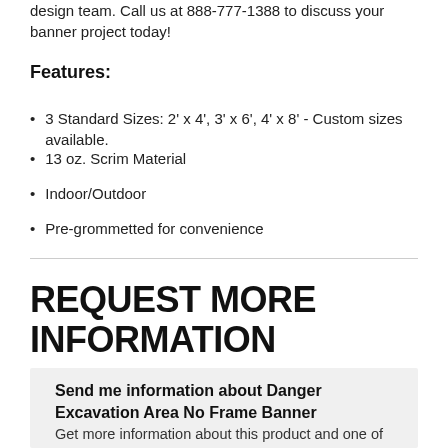design team. Call us at 888-777-1388 to discuss your banner project today!
Features:
3 Standard Sizes: 2' x 4', 3' x 6', 4' x 8' - Custom sizes available.
13 oz. Scrim Material
Indoor/Outdoor
Pre-grommetted for convenience
REQUEST MORE INFORMATION
Send me information about Danger Excavation Area No Frame Banner
Get more information about this product and one of our sales representatives will be in touch with you.